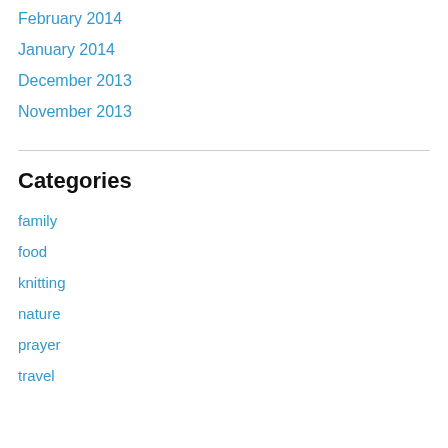February 2014
January 2014
December 2013
November 2013
Categories
family
food
knitting
nature
prayer
travel
Uncategorized
veterinary stories
Meta